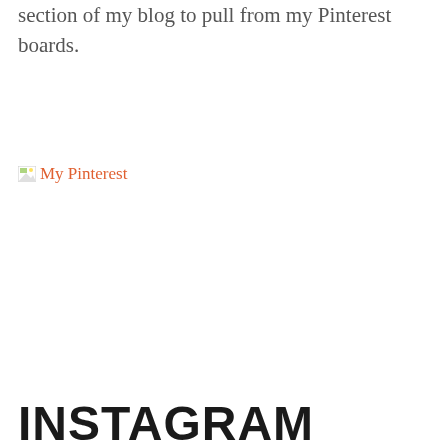section of my blog to pull from my Pinterest boards.
[Figure (other): Broken image placeholder with orange link text reading 'My Pinterest']
INSTAGRAM